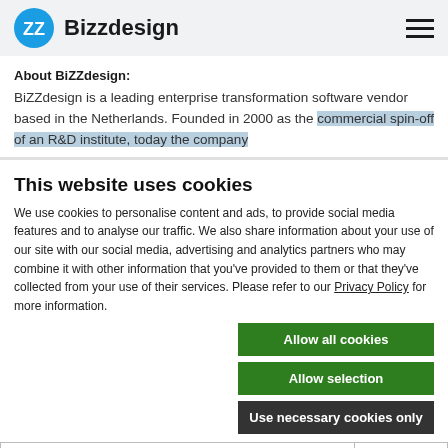Bizzdesign
About BiZZdesign:
BiZZdesign is a leading enterprise transformation software vendor based in the Netherlands. Founded in 2000 as the commercial spin-off of an R&D institute, today the company
This website uses cookies
We use cookies to personalise content and ads, to provide social media features and to analyse our traffic. We also share information about your use of our site with our social media, advertising and analytics partners who may combine it with other information that you've provided to them or that they've collected from your use of their services. Please refer to our Privacy Policy for more information.